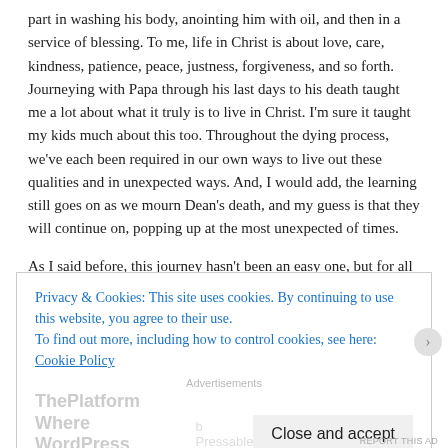part in washing his body, anointing him with oil, and then in a service of blessing. To me, life in Christ is about love, care, kindness, patience, peace, justness, forgiveness, and so forth. Journeying with Papa through his last days to his death taught me a lot about what it truly is to live in Christ. I'm sure it taught my kids much about this too. Throughout the dying process, we've each been required in our own ways to live out these qualities and in unexpected ways. And, I would add, the learning still goes on as we mourn Dean's death, and my guess is that they will continue on, popping up at the most unexpected of times.
As I said before, this journey hasn't been an easy one, but for all of us, my children especially, it has been a blessing. We are each thankful for Dean's life, and the role we were able to play in making his death a good one.
Privacy & Cookies: This site uses cookies. By continuing to use this website, you agree to their use.
To find out more, including how to control cookies, see here: Cookie Policy